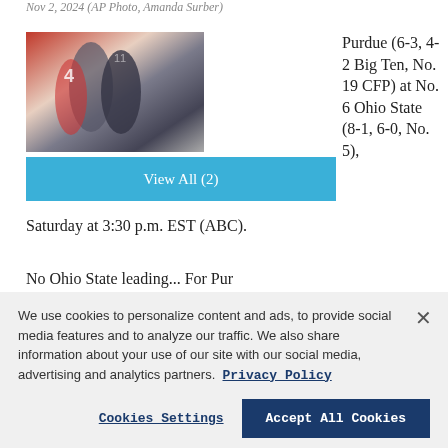Nov 2, 2024 (AP Photo, Amanda Surber)
[Figure (photo): Football game action photo showing players on the field, player number 4 visible in red uniform]
View All (2)
Purdue (6-3, 4-2 Big Ten, No. 19 CFP) at No. 6 Ohio State (8-1, 6-0, No. 5),
Saturday at 3:30 p.m. EST (ABC).
No Ohio State leading...
We use cookies to personalize content and ads, to provide social media features and to analyze our traffic. We also share information about your use of our site with our social media, advertising and analytics partners. Privacy Policy
Cookies Settings  Accept All Cookies